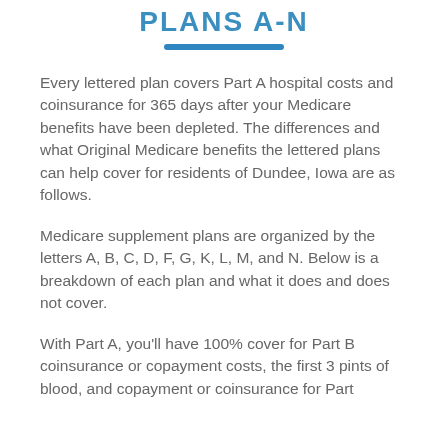PLANS A-N
Every lettered plan covers Part A hospital costs and coinsurance for 365 days after your Medicare benefits have been depleted. The differences and what Original Medicare benefits the lettered plans can help cover for residents of Dundee, Iowa are as follows.
Medicare supplement plans are organized by the letters A, B, C, D, F, G, K, L, M, and N. Below is a breakdown of each plan and what it does and does not cover.
With Part A, you'll have 100% cover for Part B coinsurance or copayment costs, the first 3 pints of blood, and copayment or coinsurance for Part